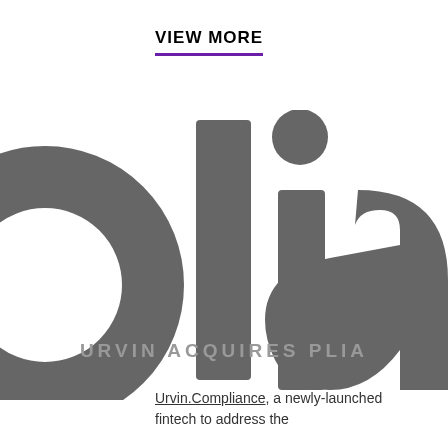VIEW MORE
[Figure (logo): Large cropped logo showing letters 'olia' in dark grey on white background, part of a company logo]
URVIN ACQUIRES PLIA
Urvin.Compliance, a newly-launched fintech to address the